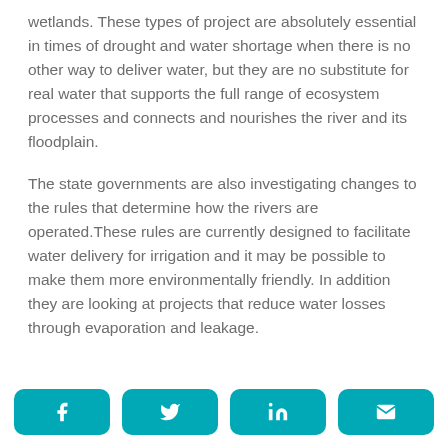wetlands. These types of project are absolutely essential in times of drought and water shortage when there is no other way to deliver water, but they are no substitute for real water that supports the full range of ecosystem processes and connects and nourishes the river and its floodplain.
The state governments are also investigating changes to the rules that determine how the rivers are operated.These rules are currently designed to facilitate water delivery for irrigation and it may be possible to make them more environmentally friendly. In addition they are looking at projects that reduce water losses through evaporation and leakage.
[Figure (infographic): Social sharing buttons row: Facebook, Twitter, LinkedIn, Email — teal rounded rectangles with white icons]